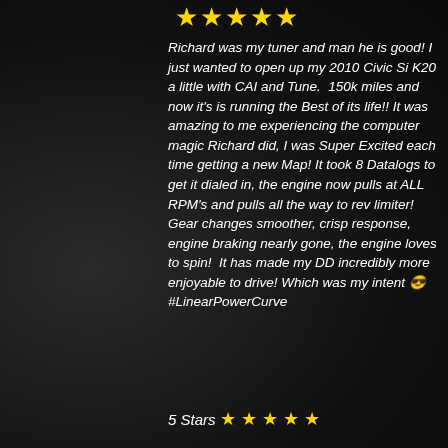[Figure (other): Five yellow star rating displayed at the top of the review]
Richard was my tuner and man he is good! I just wanted to open up my 2010 Civic Si K20 a little with CAI and Tune.  150k miles and now it's is running the Best of its life!! It was amazing to me experiencing the computer magic Richard did, I was Super Excited each time getting a new Map! It took 8 Datalogs to get it dialed in, the engine now pulls at ALL RPM's and pulls all the way to rev limiter! Gear changes smoother, crisp response,  engine braking nearly gone, the engine loves to spin!  It has made my DD incredibly more enjoyable to drive! Which was my intent 😎 #LinearPowerCurve
5 Stars ⭐⭐⭐⭐⭐